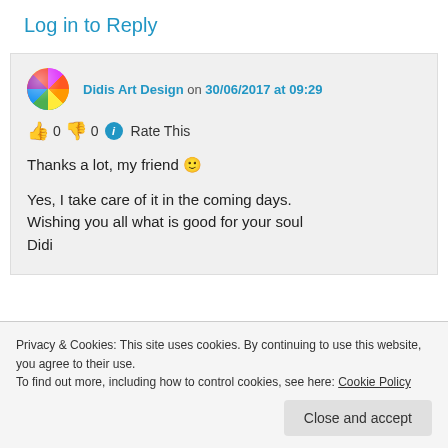Log in to Reply
Didis Art Design on 30/06/2017 at 09:29
👍 0 👎 0 ℹ Rate This
Thanks a lot, my friend 🙂
Yes, I take care of it in the coming days. Wishing you all what is good for your soul Didi
Privacy & Cookies: This site uses cookies. By continuing to use this website, you agree to their use. To find out more, including how to control cookies, see here: Cookie Policy
Close and accept